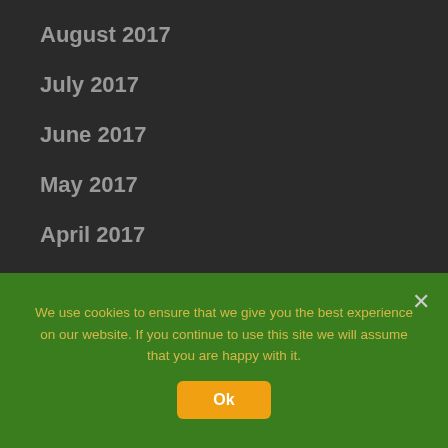August 2017
July 2017
June 2017
May 2017
April 2017
March 2017
February 2017
January 2017
We use cookies to ensure that we give you the best experience on our website. If you continue to use this site we will assume that you are happy with it.
Ok